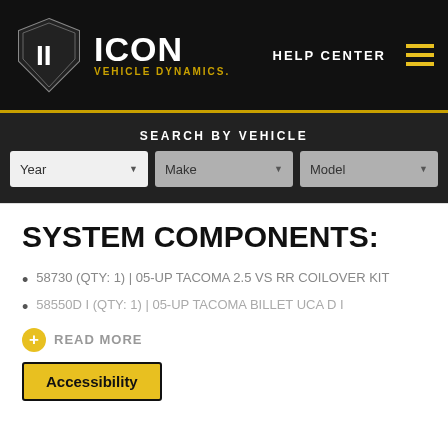ICON Vehicle Dynamics - Help Center
SEARCH BY VEHICLE
SYSTEM COMPONENTS:
58730 (QTY: 1) | 05-UP TACOMA 2.5 VS RR COILOVER KIT
58550D I (QTY: 1) | 05-UP TACOMA BILLET UCA D I
READ MORE
Accessibility